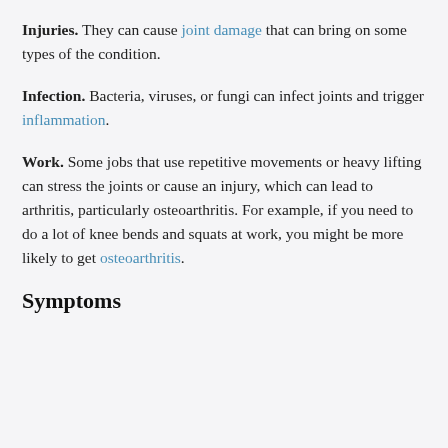Injuries. They can cause joint damage that can bring on some types of the condition.
Infection. Bacteria, viruses, or fungi can infect joints and trigger inflammation.
Work. Some jobs that use repetitive movements or heavy lifting can stress the joints or cause an injury, which can lead to arthritis, particularly osteoarthritis. For example, if you need to do a lot of knee bends and squats at work, you might be more likely to get osteoarthritis.
Symptoms